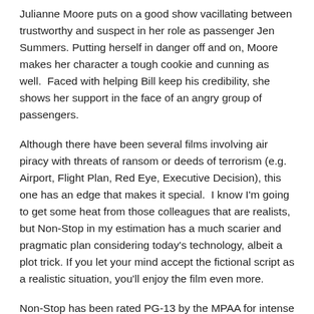Julianne Moore puts on a good show vacillating between trustworthy and suspect in her role as passenger Jen Summers. Putting herself in danger off and on, Moore makes her character a tough cookie and cunning as well.  Faced with helping Bill keep his credibility, she shows her support in the face of an angry group of passengers.
Although there have been several films involving air piracy with threats of ransom or deeds of terrorism (e.g. Airport, Flight Plan, Red Eye, Executive Decision), this one has an edge that makes it special.  I know I'm going to get some heat from those colleagues that are realists, but Non-Stop in my estimation has a much scarier and pragmatic plan considering today's technology, albeit a plot trick. If you let your mind accept the fictional script as a realistic situation, you'll enjoy the film even more.
Non-Stop has been rated PG-13 by the MPAA for intense sequences of action and violence, some language, sensuality and drug references.  Be cautious in allowing immature children see the film as there are some scenes that are very realistic and scary.